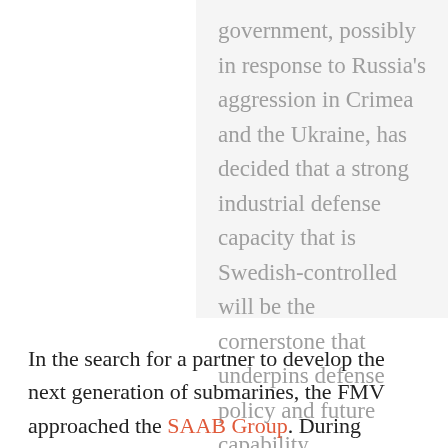government, possibly in response to Russia's aggression in Crimea and the Ukraine, has decided that a strong industrial defense capacity that is Swedish-controlled will be the cornerstone that underpins defense policy and future capability.
In the search for a partner to develop the next generation of submarines, the FMV approached the SAAB Group. During autumn 2013, Saab tried to reach an agreement to buy